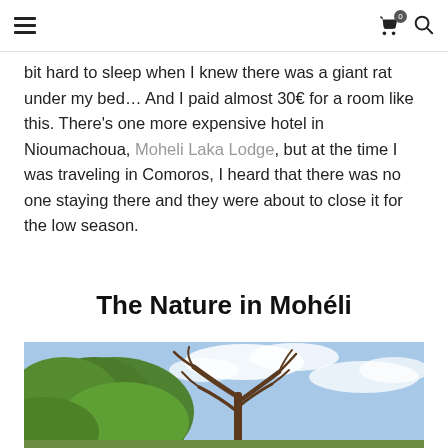☰ [cart 0] [search]
bit hard to sleep when I knew there was a giant rat under my bed… And I paid almost 30€ for a room like this. There's one more expensive hotel in Nioumachoua, Moheli Laka Lodge, but at the time I was traveling in Comoros, I heard that there was no one staying there and they were about to close it for the low season.
The Nature in Mohéli
[Figure (photo): Outdoor nature photograph showing lush green hillside vegetation on the left and a large bare-branched tree against a blue sky with white clouds on the right, taken in Mohéli.]